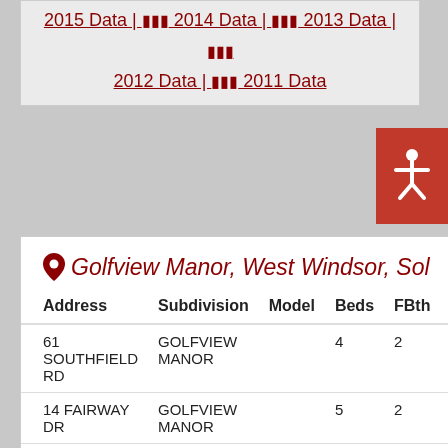2015 Data | 2014 Data | 2013 Data | 2012 Data | 2011 Data
Golfview Manor, West Windsor, Sol...
| Address | Subdivision | Model | Beds | FBth | PBth | Price |
| --- | --- | --- | --- | --- | --- | --- |
| 61 SOUTHFIELD RD | GOLFVIEW MANOR |  | 4 | 2 | 1 | $61... |
| 14 FAIRWAY DR | GOLFVIEW MANOR |  | 5 | 2 | 1 | $68... |
Community Information | 2016 Data | 2015 Data | 2014 Data | 2013 Data | 2012 Data | 2011 Data